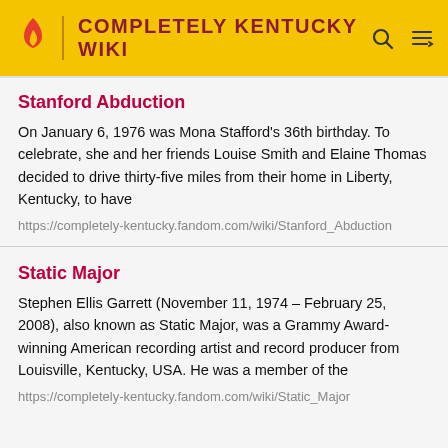COMPLETELY KENTUCKY WIKI
Stanford Abduction
On January 6, 1976 was Mona Stafford's 36th birthday. To celebrate, she and her friends Louise Smith and Elaine Thomas decided to drive thirty-five miles from their home in Liberty, Kentucky, to have
https://completely-kentucky.fandom.com/wiki/Stanford_Abduction
Static Major
Stephen Ellis Garrett (November 11, 1974 – February 25, 2008), also known as Static Major, was a Grammy Award-winning American recording artist and record producer from Louisville, Kentucky, USA. He was a member of the
https://completely-kentucky.fandom.com/wiki/Static_Major